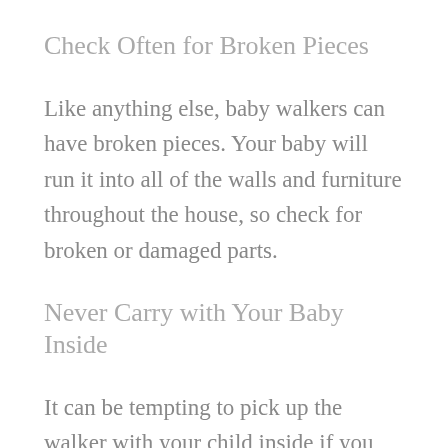Check Often for Broken Pieces
Like anything else, baby walkers can have broken pieces. Your baby will run it into all of the walls and furniture throughout the house, so check for broken or damaged parts.
Never Carry with Your Baby Inside
It can be tempting to pick up the walker with your child inside if you